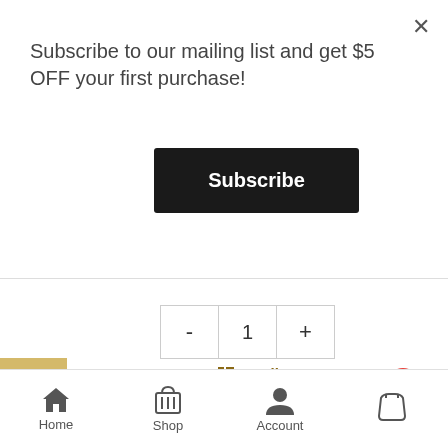Subscribe to our mailing list and get $5 OFF your first purchase!
Subscribe
[Figure (screenshot): Quantity selector with minus button, value 1, and plus button]
Details
Add to cart
Low Carb 7 Grain Fibe
Home   Shop   Account